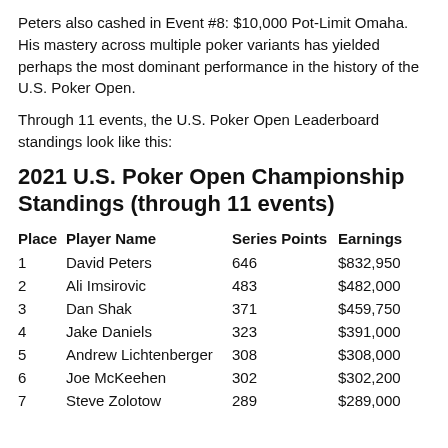Peters also cashed in Event #8: $10,000 Pot-Limit Omaha. His mastery across multiple poker variants has yielded perhaps the most dominant performance in the history of the U.S. Poker Open.
Through 11 events, the U.S. Poker Open Leaderboard standings look like this:
2021 U.S. Poker Open Championship Standings (through 11 events)
| Place | Player Name | Series Points | Earnings |
| --- | --- | --- | --- |
| 1 | David Peters | 646 | $832,950 |
| 2 | Ali Imsirovic | 483 | $482,000 |
| 3 | Dan Shak | 371 | $459,750 |
| 4 | Jake Daniels | 323 | $391,000 |
| 5 | Andrew Lichtenberger | 308 | $308,000 |
| 6 | Joe McKeehen | 302 | $302,200 |
| 7 | Steve Zolotow | 289 | $289,000 |